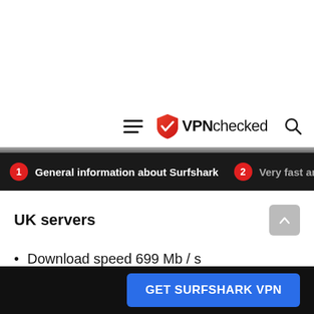VPNchecked
1 General information about Surfshark  2 Very fast and effi…
UK servers
Download speed 699 Mb / s
GET SURFSHARK VPN